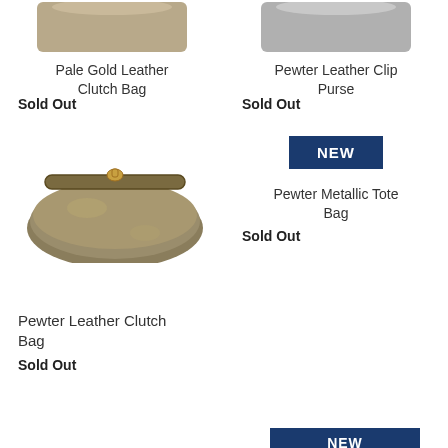[Figure (photo): Pale Gold Leather Clutch Bag product photo (cropped top)]
[Figure (photo): Pewter Leather Clip Purse product photo (cropped top)]
Pale Gold Leather Clutch Bag
Sold Out
Pewter Leather Clip Purse
Sold Out
[Figure (photo): Pewter metallic frame clutch bag product photo]
[Figure (photo): NEW badge label for Pewter Metallic Tote Bag]
Pewter Metallic Tote Bag
Sold Out
Pewter Leather Clutch Bag
Sold Out
[Figure (photo): NEW badge label at bottom right]